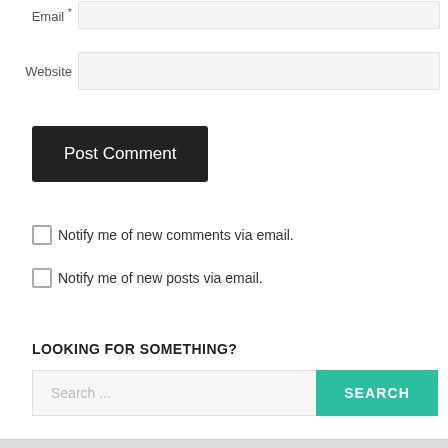Email *
Website
Post Comment
Notify me of new comments via email.
Notify me of new posts via email.
LOOKING FOR SOMETHING?
Search ...